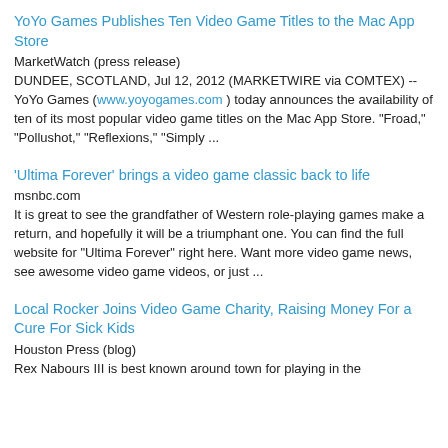YoYo Games Publishes Ten Video Game Titles to the Mac App Store
MarketWatch (press release)
DUNDEE, SCOTLAND, Jul 12, 2012 (MARKETWIRE via COMTEX) -- YoYo Games ( www.yoyogames.com ) today announces the availability of ten of its most popular video game titles on the Mac App Store. "Froad," "Pollushot," "Reflexions," "Simply ...
'Ultima Forever' brings a video game classic back to life
msnbc.com
It is great to see the grandfather of Western role-playing games make a return, and hopefully it will be a triumphant one. You can find the full website for "Ultima Forever" right here. Want more video game news, see awesome video game videos, or just ...
Local Rocker Joins Video Game Charity, Raising Money For a Cure For Sick Kids
Houston Press (blog)
Rex Nabours III is best known around town for playing in the